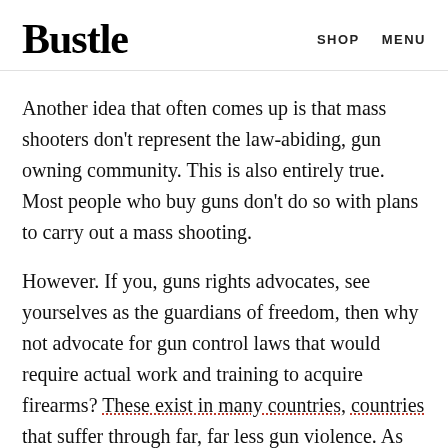Bustle | SHOP  MENU
Another idea that often comes up is that mass shooters don't represent the law-abiding, gun owning community. This is also entirely true. Most people who buy guns don't do so with plans to carry out a mass shooting.
However. If you, guns rights advocates, see yourselves as the guardians of freedom, then why not advocate for gun control laws that would require actual work and training to acquire firearms? These exist in many countries, countries that suffer through far, far less gun violence. As staunch liberal and frequent target of